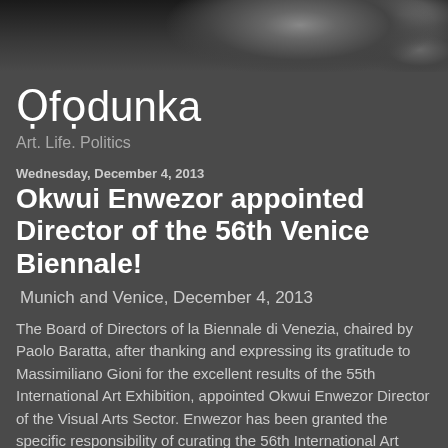[Figure (photo): Dark textured stone or rock surface photograph strip at top of page]
Ọfọdunka
Art. Life. Politics
Wednesday, December 4, 2013
Okwui Enwezor appointed Director of the 56th Venice Biennale!
Munich and Venice, December 4, 2013
The Board of Directors of la Biennale di Venezia, chaired by Paolo Baratta, after thanking and expressing its gratitude to Massimiliano Gioni for the excellent results of the 55th International Art Exhibition, appointed Okwui Enwezor Director of the Visual Arts Sector. Enwezor has been granted the specific responsibility of curating the 56th International Art Exhibition, to be held in 2015 (Venice, Giardini and Arsenale, May 9 - November 22, 2015).